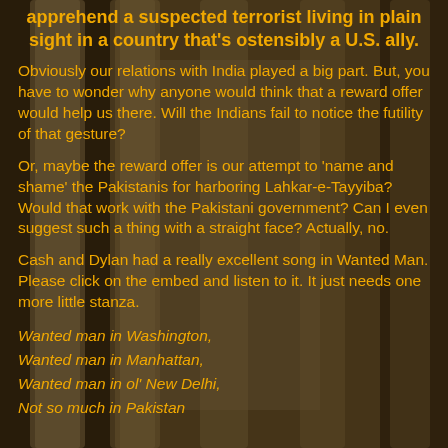apprehend a suspected terrorist living in plain sight in a country that's ostensibly a U.S. ally.
Obviously our relations with India played a big part. But, you have to wonder why anyone would think that a reward offer would help us there. Will the Indians fail to notice the futility of that gesture?
Or, maybe the reward offer is our attempt to 'name and shame' the Pakistanis for harboring Lahkar-e-Tayyiba? Would that work with the Pakistani government? Can I even suggest such a thing with a straight face? Actually, no.
Cash and Dylan had a really excellent song in Wanted Man. Please click on the embed and listen to it. It just needs one more little stanza.
Wanted man in Washington,
Wanted man in Manhattan,
Wanted man in ol' New Delhi,
Not so much in Pakistan